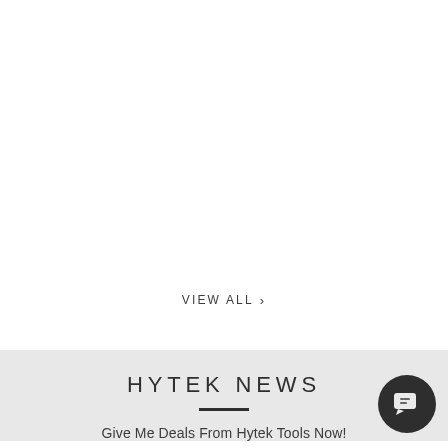VIEW ALL >
HYTEK NEWS
Give Me Deals From Hytek Tools Now!